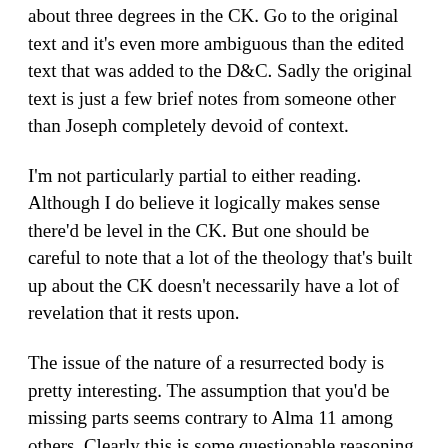about three degrees in the CK. Go to the original text and it's even more ambiguous than the edited text that was added to the D&C. Sadly the original text is just a few brief notes from someone other than Joseph completely devoid of context.
I'm not particularly partial to either reading. Although I do believe it logically makes sense there'd be level in the CK. But one should be careful to note that a lot of the theology that's built up about the CK doesn't necessarily have a lot of revelation that it rests upon.
The issue of the nature of a resurrected body is pretty interesting. The assumption that you'd be missing parts seems contrary to Alma 11 among others. Clearly this is some questionable reasoning which assumes that genitals are